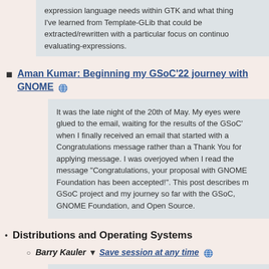expression language needs within GTK and what things I've learned from Template-GLib that could be extracted/rewritten with a particular focus on continuously evaluating-expressions.
Aman Kumar: Beginning my GSoC’22 journey with GNOME
It was the late night of the 20th of May. My eyes were glued to the email, waiting for the results of the GSoC’ when I finally received an email that started with a Congratulations message rather than a Thank You for applying message. I was overjoyed when I read the message “Congratulations, your proposal with GNOME Foundation has been accepted!”. This post describes my GSoC project and my journey so far with the GSoC, GNOME Foundation, and Open Source.
Distributions and Operating Systems
Barry Kauler ▾ Save session at any time